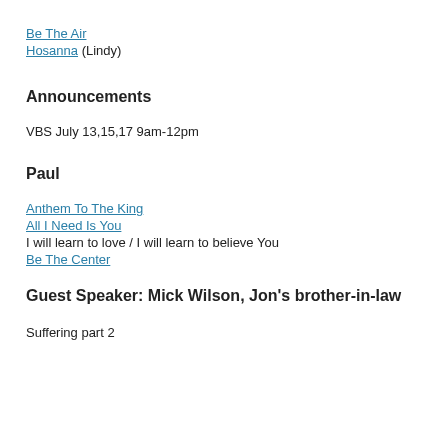Be The Air
Hosanna (Lindy)
Announcements
VBS July 13,15,17 9am-12pm
Paul
Anthem To The King
All I Need Is You
I will learn to love / I will learn to believe You
Be The Center
Guest Speaker: Mick Wilson, Jon's brother-in-law
Suffering part 2